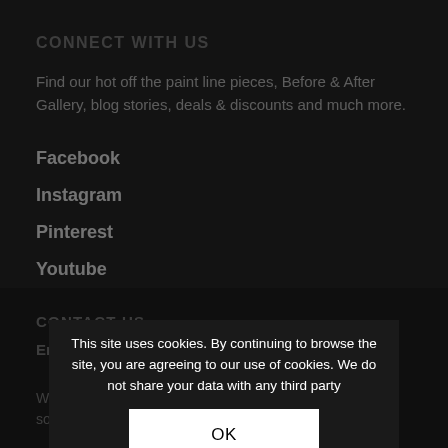CONNECT WITH US
Find our hot off the paint line pieces, Before & After Gallery, blog stories, deals & discounts and much more.
Facebook
Instagram
Pinterest
Youtube
CONTACT US
Email Customer Service
We are super busy Rethinking things, but we will reply as soon as possible.
This site uses cookies. By continuing to browse the site, you are agreeing to our use of cookies. We do not share your data with any third party
OK